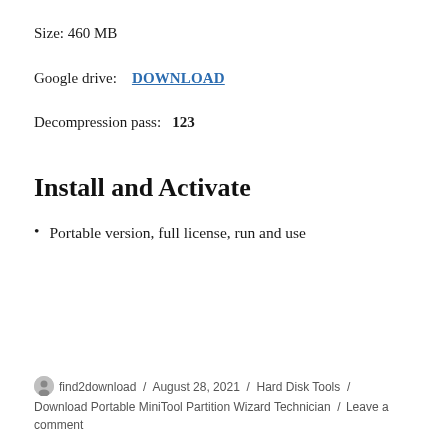Size: 460 MB
Google drive:   DOWNLOAD
Decompression pass:  123
Install and Activate
Portable version, full license, run and use
find2download / August 28, 2021 / Hard Disk Tools / Download Portable MiniTool Partition Wizard Technician / Leave a comment